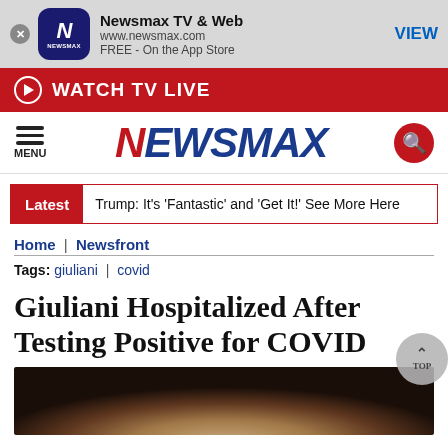[Figure (screenshot): Newsmax app banner with logo, app name, URL, and VIEW button]
WATCH TV LIVE
[Figure (logo): Newsmax logo with hamburger menu and search icon]
Latest  Trump: It’s ‘Fantastic’ and ‘Get It!’ See More Here
Home | Newsfront
Tags: giuliani | covid
Giuliani Hospitalized After Testing Positive for COVID
[Figure (photo): Photograph of Giuliani, partially visible, dark background]